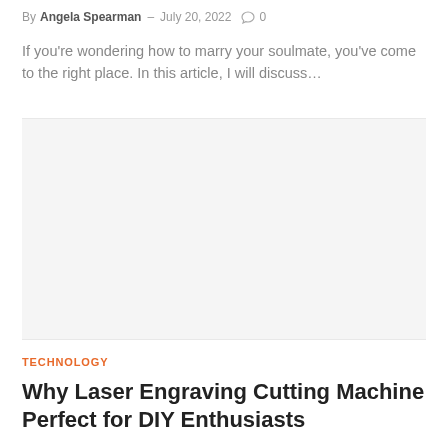By Angela Spearman – July 20, 2022  0
If you're wondering how to marry your soulmate, you've come to the right place. In this article, I will discuss…
[Figure (photo): Blank/placeholder image area]
TECHNOLOGY
Why Laser Engraving Cutting Machine Perfect for DIY Enthusiasts